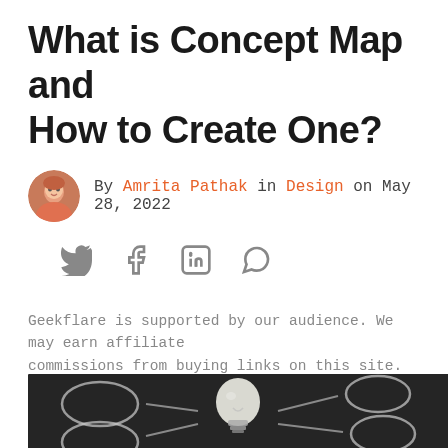What is Concept Map and How to Create One?
By Amrita Pathak in Design on May 28, 2022
[Figure (other): Social share icons: Twitter, Facebook, LinkedIn, WhatsApp]
Geekflare is supported by our audience. We may earn affiliate commissions from buying links on this site.
[Figure (photo): A blackboard with chalk-drawn concept map circles and lines, with a light bulb in the center]